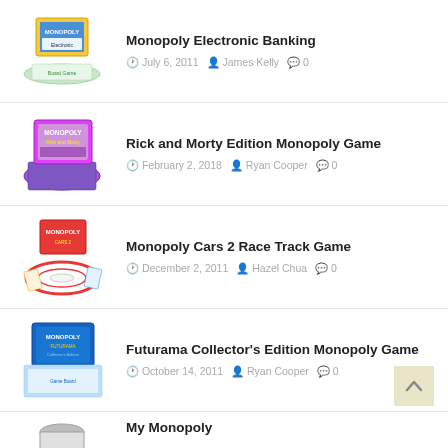Monopoly Electronic Banking | July 6, 2011 | James Kelly | 0
Rick and Morty Edition Monopoly Game | February 2, 2018 | Ryan Cooper | 0
Monopoly Cars 2 Race Track Game | December 2, 2011 | Hazel Chua | 0
Futurama Collector's Edition Monopoly Game | October 14, 2011 | Ryan Cooper | 0
My Monopoly